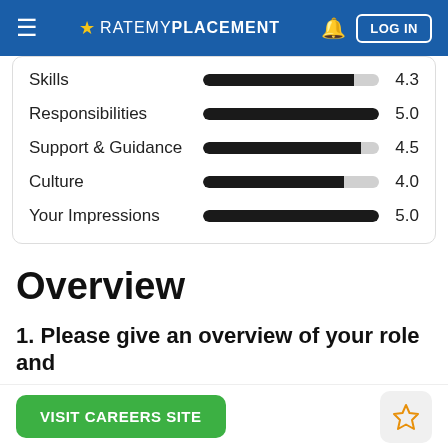≡ ★ RATEMYPLACEMENT  🔔  LOG IN
[Figure (bar-chart): Ratings]
Overview
1. Please give an overview of your role and